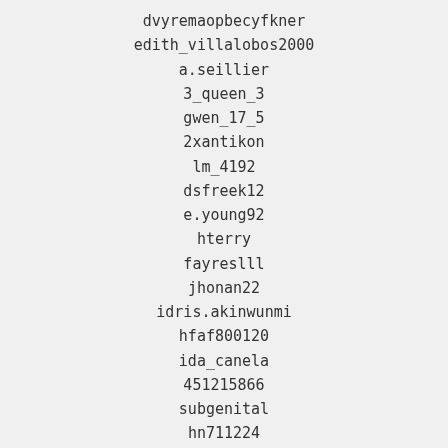dvyremaopbecyfkner
edith_villalobos2000
a.seillier
3_queen_3
gwen_17_5
2xantikon
lm_4192
dsfreek12
e.young92
hterry
fayreslll
jhonan22
idris.akinwunmi
hfaf800120
ida_canela
451215866
subgenital
hn711224
1hopeful98
eyesonly3310
kbrzyncki
daanonrs
dwgnb1028
jrd05